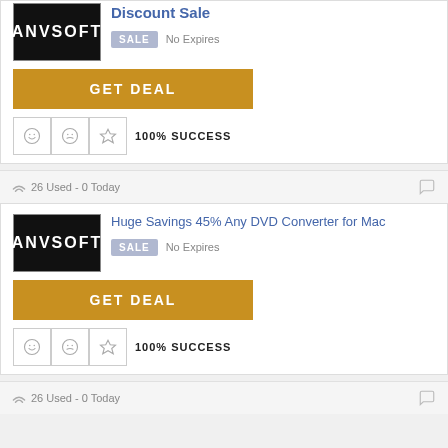[Figure (logo): AnvSoft logo - black background with white stylized text]
Discount Sale
SALE   No Expires
GET DEAL
100% SUCCESS
26 Used - 0 Today
[Figure (logo): AnvSoft logo - black background with white stylized text]
Huge Savings 45% Any DVD Converter for Mac
SALE   No Expires
GET DEAL
100% SUCCESS
26 Used - 0 Today